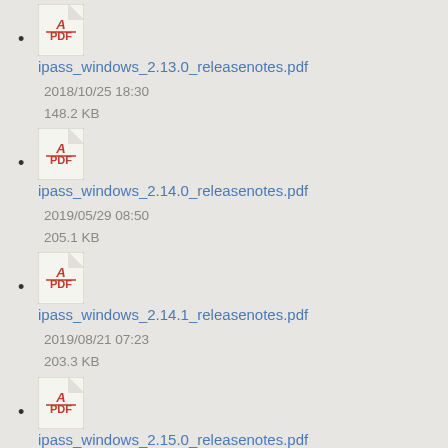ipass_windows_2.13.0_releasenotes.pdf
2018/10/25 18:30
148.2 KB
ipass_windows_2.14.0_releasenotes.pdf
2019/05/29 08:50
205.1 KB
ipass_windows_2.14.1_releasenotes.pdf
2019/08/21 07:23
203.3 KB
ipass_windows_2.15.0_releasenotes.pdf